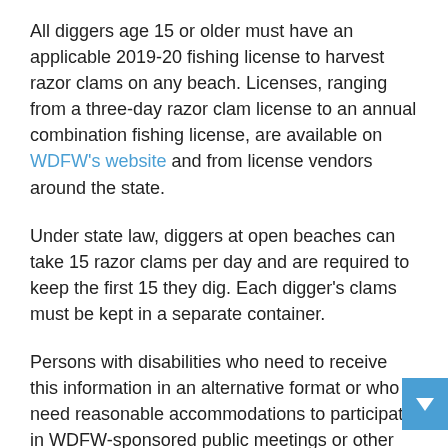All diggers age 15 or older must have an applicable 2019-20 fishing license to harvest razor clams on any beach. Licenses, ranging from a three-day razor clam license to an annual combination fishing license, are available on WDFW's website and from license vendors around the state.
Under state law, diggers at open beaches can take 15 razor clams per day and are required to keep the first 15 they dig. Each digger's clams must be kept in a separate container.
Persons with disabilities who need to receive this information in an alternative format or who need reasonable accommodations to participate in WDFW-sponsored public meetings or other activities may contact Dolores Noyes by phone (360-902-2349), TTY (360-902-2207), or email (dolores.noyes@dfw.wa.gov). For more information, see http://wdfw.wa.gov/accessibility/reasonable_request.html.